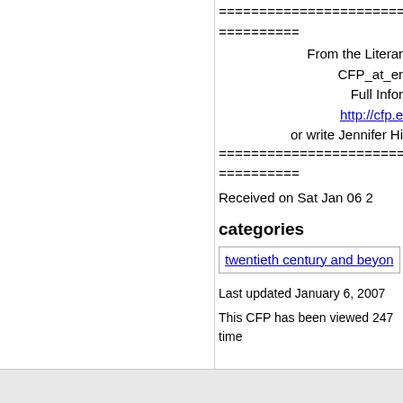=========================
=========
From the Literar
CFP_at_er
Full Infor
http://cfp.e
or write Jennifer Hi
=========================
=========
Received on Sat Jan 06 2
categories
twentieth century and beyon
Last updated January 6, 2007
This CFP has been viewed 247 time